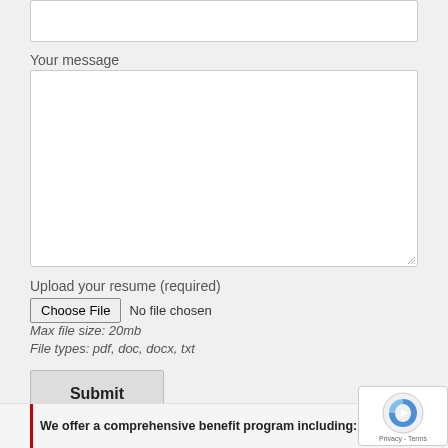Your message
Upload your resume (required)
Max file size: 20mb
File types: pdf, doc, docx, txt
Submit
We offer a comprehensive benefit program including: